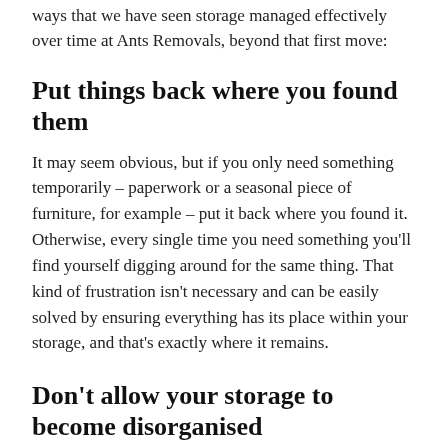ways that we have seen storage managed effectively over time at Ants Removals, beyond that first move:
Put things back where you found them
It may seem obvious, but if you only need something temporarily – paperwork or a seasonal piece of furniture, for example – put it back where you found it. Otherwise, every single time you need something you'll find yourself digging around for the same thing. That kind of frustration isn't necessary and can be easily solved by ensuring everything has its place within your storage, and that's exactly where it remains.
Don't allow your storage to become disorganised